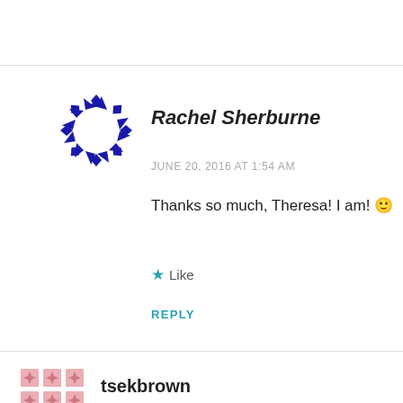[Figure (illustration): Blue decorative circular avatar icon made of geometric arrow shapes for user Rachel Sherburne]
Rachel Sherburne
JUNE 20, 2016 AT 1:54 AM
Thanks so much, Theresa! I am! 🙂
★ Like
REPLY
[Figure (illustration): Pink/rose decorative square quilt-pattern avatar icon for user tsekbrown]
tsekbrown
JUNE 16, 2016 AT 7:34 PM